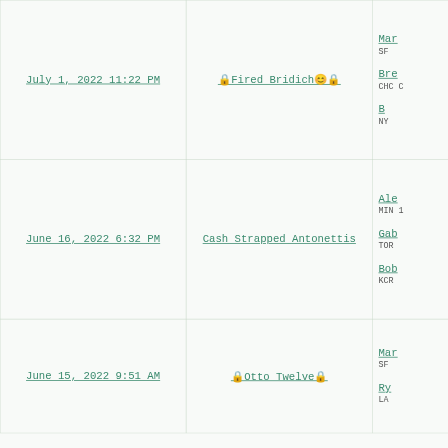| Date | League Name | Members (partial) |
| --- | --- | --- |
| July 1, 2022 11:22 PM | 🔒Fired Bridich😊🔒 | Mar... SF | Bre... CHC C | B... NY |
| June 16, 2022 6:32 PM | Cash Strapped Antonettis | Ale... MIN 1 | Gab... TOR | Bob... KCR |
| June 15, 2022 9:51 AM | 🔒Otto Twelve🔒 | Mar... SF | Ry... LA |